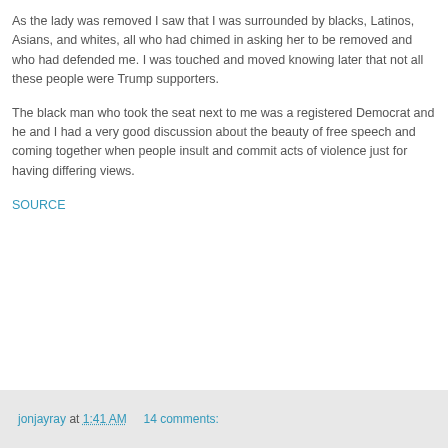As the lady was removed I saw that I was surrounded by blacks, Latinos, Asians, and whites, all who had chimed in asking her to be removed and who had defended me. I was touched and moved knowing later that not all these people were Trump supporters.
The black man who took the seat next to me was a registered Democrat and he and I had a very good discussion about the beauty of free speech and coming together when people insult and commit acts of violence just for having differing views.
SOURCE
jonjayray at 1:41 AM   14 comments: